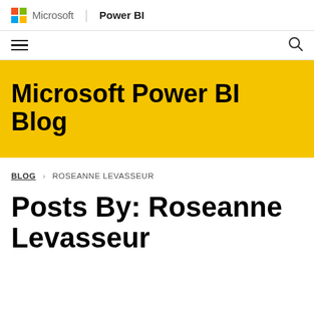Microsoft | Power BI
[Figure (logo): Microsoft logo with four colored squares (red, green, blue, yellow) and text 'Microsoft | Power BI']
Microsoft Power BI Blog
BLOG > ROSEANNE LEVASSEUR
Posts By: Roseanne Levasseur